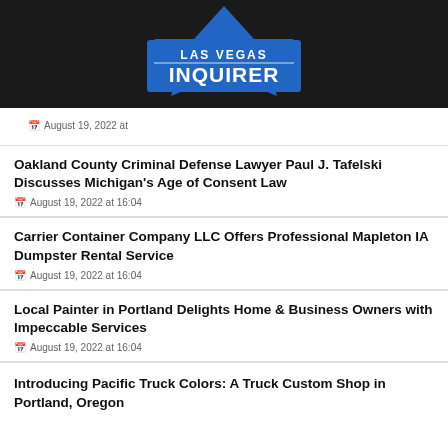LAS VEGAS INQUIRER
August 19, 2022 at
Oakland County Criminal Defense Lawyer Paul J. Tafelski Discusses Michigan's Age of Consent Law
August 19, 2022 at 16:04
Carrier Container Company LLC Offers Professional Mapleton IA Dumpster Rental Service
August 19, 2022 at 16:04
Local Painter in Portland Delights Home & Business Owners with Impeccable Services
August 19, 2022 at 16:04
Introducing Pacific Truck Colors: A Truck Custom Shop in Portland, Oregon